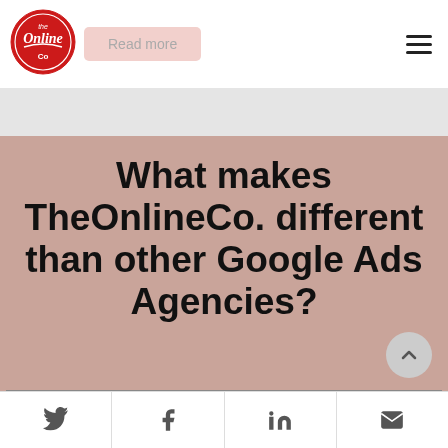[Figure (logo): The Online Co circular red logo with retro badge styling]
Read more
What makes TheOnlineCo. different than other Google Ads Agencies?
Social share bar with Twitter, Facebook, LinkedIn, and Email icons